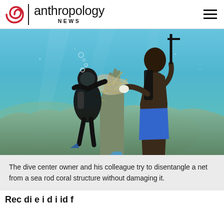anthropology NEWS
[Figure (photo): Two divers underwater working to disentangle a fishing net from a sea rod coral structure. One diver wearing black wetsuit and full scuba gear, the other in blue shorts with white gloves, both pulling at tangled net ropes over a coral reef in blue-green water.]
The dive center owner and his colleague try to disentangle a net from a sea rod coral structure without damaging it.
Rec di e i d i id f